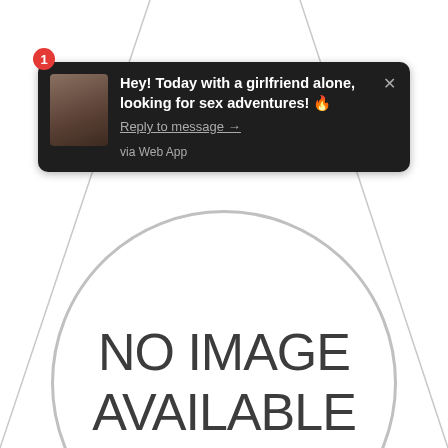[Figure (screenshot): A mobile push notification with dark background showing a spam/adult message: 'Hey! Today with a girlfriend alone, looking for sex adventures! 🔥' with a 'Reply to message →' link and 'via Web App' source label. A red badge with number 1 appears in the top-left corner. A thumbnail photo appears on the left side of the notification.]
[Figure (other): A large circle outline with the text 'NO IMAGE AVAILABLE' centered inside it, indicating no screenshot background image is available.]